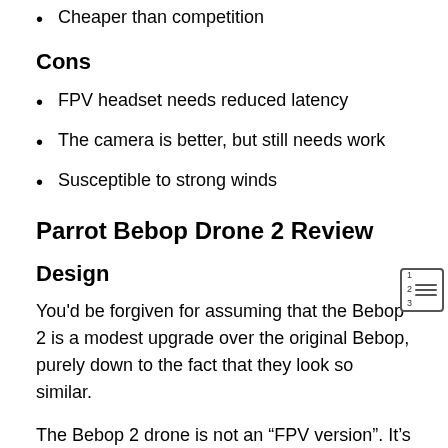Cheaper than competition
Cons
FPV headset needs reduced latency
The camera is better, but still needs work
Susceptible to strong winds
Parrot Bebop Drone 2 Review
Design
You'd be forgiven for assuming that the Bebop 2 is a modest upgrade over the original Bebop, purely down to the fact that they look so similar.
The Bebop 2 drone is not an “FPV version”. It’s the same design and mechanics. Parrot sells separately the CockpitGlasses VR headset, SkyController 2 remote controller as a bundle. You can purchase these